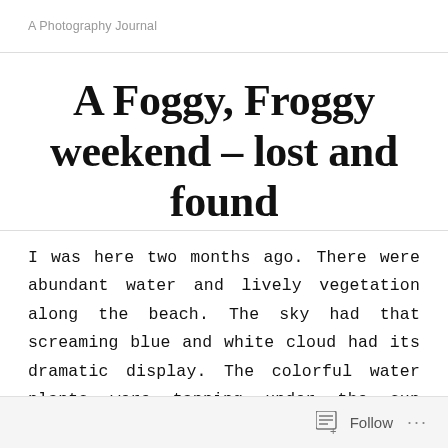A Photography Journal
A Foggy, Froggy weekend – lost and found
I was here two months ago. There were abundant water and lively vegetation along the beach. The sky had that screaming blue and white cloud had its dramatic display. The colorful water plants were tanning under the sun while crystal clear lake water was soaking our feet. The pleasing landscape has been always in my mind.  So I came back with my photography friends for a re-visit.
Follow